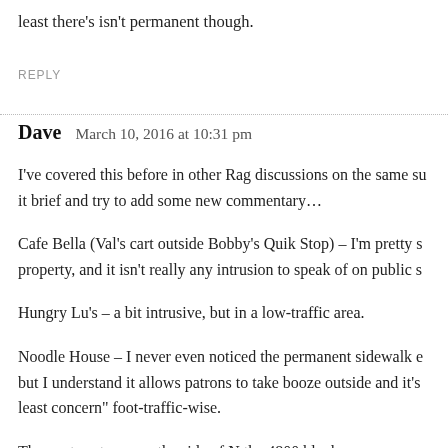least there’s isn’t permanent though.
REPLY
Dave   March 10, 2016 at 10:31 pm
I’ve covered this before in other Rag discussions on the same su it brief and try to add some new commentary…
Cafe Bella (Val’s cart outside Bobby’s Quik Stop) – I’m pretty s property, and it isn’t really any intrusion to speak of on public s
Hungry Lu’s – a bit intrusive, but in a low-traffic area.
Noodle House – I never even noticed the permanent sidewalk e but I understand it allows patrons to take booze outside and it’s least concern” foot-traffic-wise.
The next sentence on the side of N the 4800 block